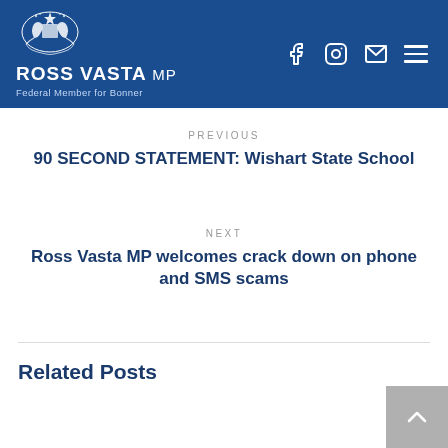ROSS VASTA MP - Federal Member for Bonner
PREVIOUS
90 SECOND STATEMENT: Wishart State School
NEXT
Ross Vasta MP welcomes crack down on phone and SMS scams
Related Posts